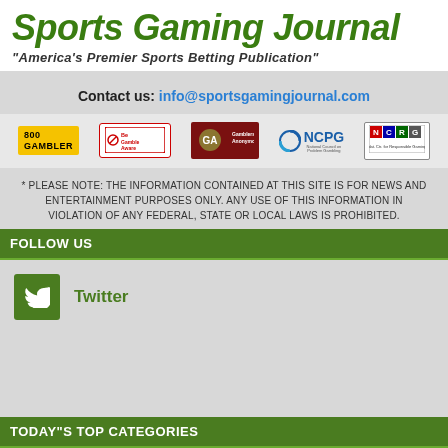Sports Gaming Journal
"America's Premier Sports Betting Publication"
Contact us: info@sportsgamingjournal.com
[Figure (logo): Five partner logos: 800-GAMBLER, BeGambleAware, Gamblers Anonymous, NCPG, NCRG]
* PLEASE NOTE: THE INFORMATION CONTAINED AT THIS SITE IS FOR NEWS AND ENTERTAINMENT PURPOSES ONLY. ANY USE OF THIS INFORMATION IN VIOLATION OF ANY FEDERAL, STATE OR LOCAL LAWS IS PROHIBITED.
FOLLOW US
Twitter
TODAY"S TOP CATEGORIES